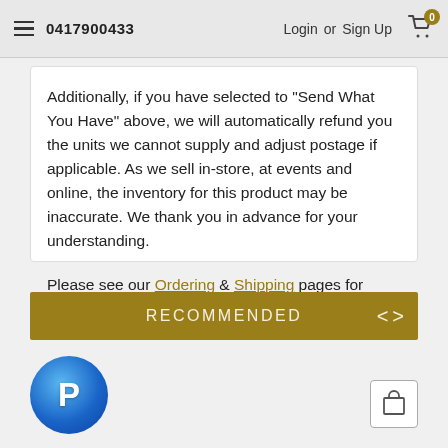0417900433   Login or Sign Up
Additionally, if you have selected to "Send What You Have" above, we will automatically refund you the units we cannot supply and adjust postage if applicable. As we sell in-store, at events and online, the inventory for this product may be inaccurate. We thank you in advance for your understanding.
Please see our Ordering & Shipping pages for more information.
RECOMMENDED
[Figure (logo): PayPal circular logo button in blue gradient]
[Figure (other): Box/image navigation icon on right side]